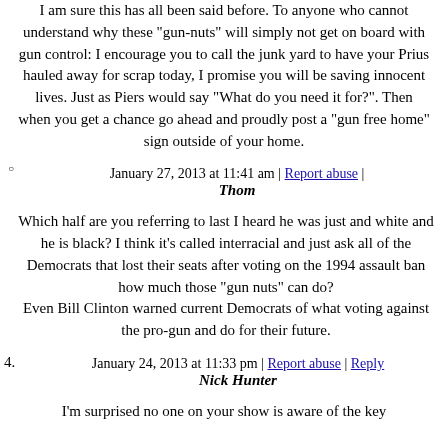I am sure this has all been said before. To anyone who cannot understand why these "gun-nuts" will simply not get on board with gun control: I encourage you to call the junk yard to have your Prius hauled away for scrap today, I promise you will be saving innocent lives. Just as Piers would say "What do you need it for?". Then when you get a chance go ahead and proudly post a "gun free home" sign outside of your home.
January 27, 2013 at 11:41 am | Report abuse | Thom
Which half are you referring to last I heard he was just and white and he is black? I think it's called interracial and just ask all of the Democrats that lost their seats after voting on the 1994 assault ban how much those "gun nuts" can do?
Even Bill Clinton warned current Democrats of what voting against the pro-gun and do for their future.
January 24, 2013 at 11:33 pm | Report abuse | Reply Nick Hunter
I'm surprised no one on your show is aware of the key